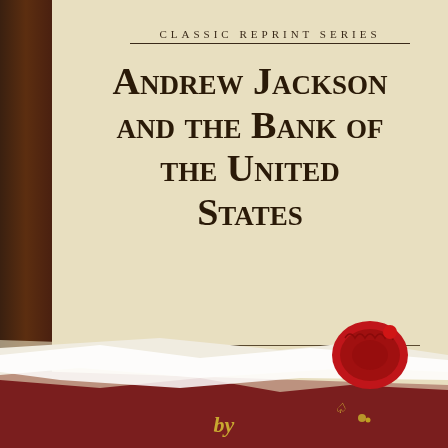CLASSIC REPRINT SERIES
Andrew Jackson and the Bank of the United States
[Figure (illustration): Book cover of a Classic Reprint Series edition. Upper half has cream/parchment background with series header text and book title. Lower half has dark maroon background with a torn paper/parchment diagonal strip across the middle, a red wax seal on the torn paper, and a gold decorative emblem ring below. The word 'by' appears in gold italic script at the bottom.]